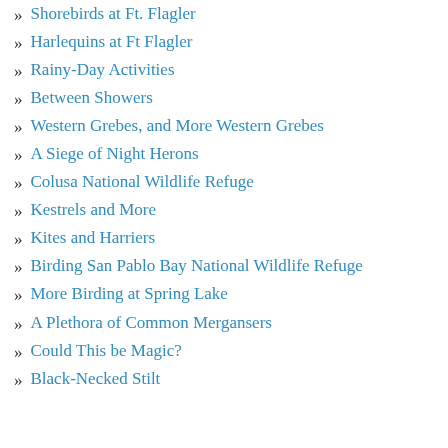Shorebirds at Ft. Flagler
Harlequins at Ft Flagler
Rainy-Day Activities
Between Showers
Western Grebes, and More Western Grebes
A Siege of Night Herons
Colusa National Wildlife Refuge
Kestrels and More
Kites and Harriers
Birding San Pablo Bay National Wildlife Refuge
More Birding at Spring Lake
A Plethora of Common Mergansers
Could This be Magic?
Black-Necked Stilt